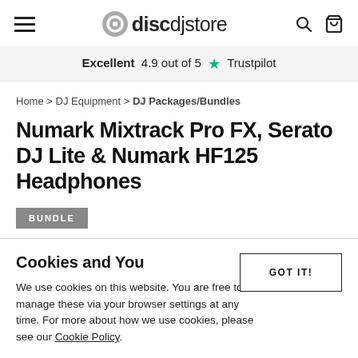discdjstore — hamburger menu, search, cart icons
Excellent 4.9 out of 5 ★ Trustpilot
Home > DJ Equipment > DJ Packages/Bundles
Numark Mixtrack Pro FX, Serato DJ Lite & Numark HF125 Headphones
BUNDLE
Cookies and You
GOT IT!
We use cookies on this website. You are free to manage these via your browser settings at any time. For more about how we use cookies, please see our Cookie Policy.